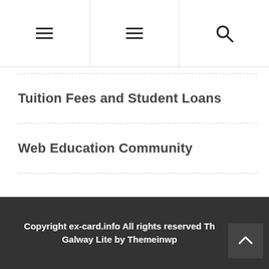[Figure (screenshot): Website header with two hamburger menu icons and a search icon in three sections]
Tuition Fees and Student Loans
Web Education Community
Copyright ex-card.info All rights reserved Th Galway Lite by Themeinwp